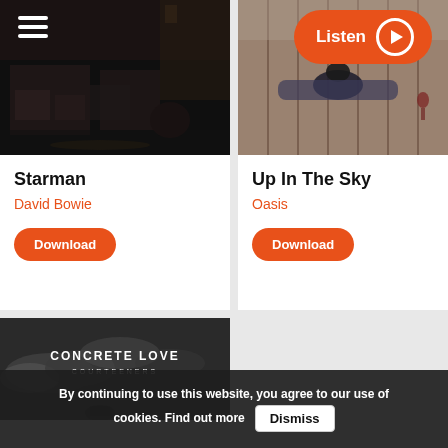[Figure (screenshot): Hamburger menu icon, white lines on dark background]
[Figure (screenshot): Orange 'Listen' button with play circle icon]
[Figure (photo): Dark street scene photo - album art for Starman]
Starman
David Bowie
[Figure (screenshot): Orange Download button]
[Figure (photo): Person lying on wooden floor - album art for Up In The Sky]
Up In The Sky
Oasis
[Figure (screenshot): Orange Download button]
[Figure (photo): Concrete Love - Courteeners album art, black and white sky with clouds]
By continuing to use this website, you agree to our use of cookies. Find out more
Dismiss